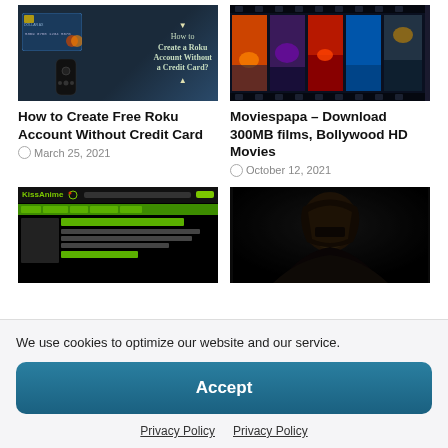[Figure (screenshot): Thumbnail image for Roku account article showing credit card and Roku remote with text overlay 'How to Create a Roku Account Without a Credit Card?']
[Figure (photo): Thumbnail image for Moviespapa article showing film strip with colorful sunset frames]
How to Create Free Roku Account Without Credit Card
March 25, 2021
Moviespapa – Download 300MB films, Bollywood HD Movies
October 12, 2021
[Figure (screenshot): KissAnime website screenshot showing dark themed anime streaming site with green navigation bar]
[Figure (illustration): Death Note anime illustration showing character with dark hair against black background]
We use cookies to optimize our website and our service.
Accept
Privacy Policy  Privacy Policy